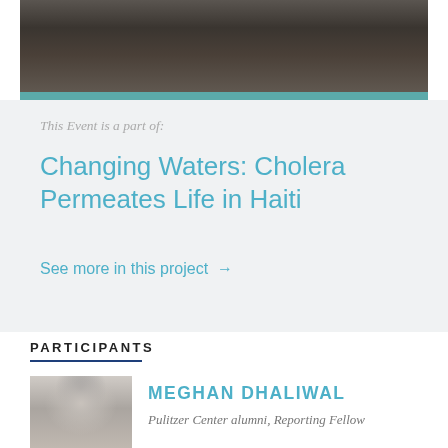[Figure (photo): Black and white photograph showing rocky/rubble ground texture, used as banner image]
This Event is a part of:
Changing Waters: Cholera Permeates Life in Haiti
See more in this project →
PARTICIPANTS
[Figure (photo): Black and white portrait photo of Meghan Dhaliwal, a young woman with long dark hair, smiling]
MEGHAN DHALIWAL
Pulitzer Center alumni, Reporting Fellow